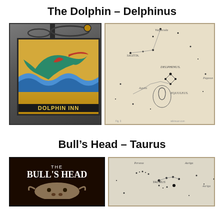The Dolphin – Delphinus
[Figure (photo): Dolphin Inn pub sign showing a blue-green sea creature/dolphin on a yellow background, with ornate black ironwork bracket above, text 'DOLPHIN INN' on black banner at bottom]
[Figure (illustration): Antique star map showing the constellation Delphinus along with surrounding constellations including Sagitta, Aquila, Equuleus, Vulpecula, and Pegasus, drawn in classical engraving style]
Bull's Head – Taurus
[Figure (photo): The Bull's Head pub sign with white serif text on dark brown/black background reading 'THE BULL'S HEAD']
[Figure (illustration): Antique star map showing the constellation Taurus drawn in classical engraving style with surrounding stars and constellation figures]